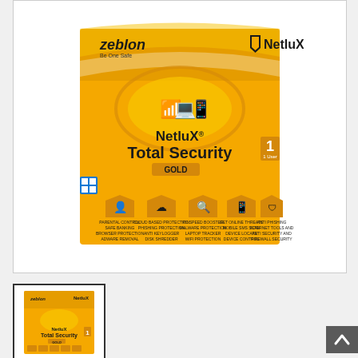[Figure (photo): Main product image of NetluX Total Security Gold software box by Zeblon. Yellow box with security icons showing 1 user license.]
[Figure (photo): Thumbnail image of NetluX Total Security Gold software box, smaller version of main product photo.]